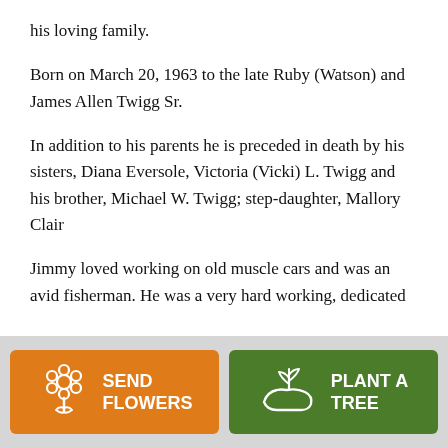his loving family.
Born on March 20, 1963 to the late Ruby (Watson) and James Allen Twigg Sr.
In addition to his parents he is preceded in death by his sisters, Diana Eversole, Victoria (Vicki) L. Twigg and his brother, Michael W. Twigg; step-daughter, Mallory Clair
Jimmy loved working on old muscle cars and was an avid fisherman. He was a very hard working, dedicated
[Figure (other): Two buttons at the bottom: orange 'SEND FLOWERS' button with a flower bouquet icon, and green 'PLANT A TREE' button with a plant/seedling icon.]